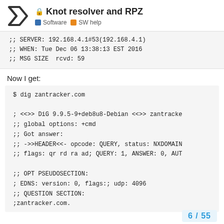Knot resolver and RPZ | Software | SW help
;; SERVER: 192.168.4.1#53(192.168.4.1)
;; WHEN: Tue Dec 06 13:38:13 EST 2016
;; MSG SIZE  rcvd: 59
Now I get:
$ dig zantracker.com

; <<>> DiG 9.9.5-9+deb8u8-Debian <<>> zantracke
;; global options: +cmd
;; Got answer:
;; ->>HEADER<<- opcode: QUERY, status: NXDOMAIN
;; flags: qr rd ra ad; QUERY: 1, ANSWER: 0, AUT

;; OPT PSEUDOSECTION:
; EDNS: version: 0, flags:; udp: 4096
;; QUESTION SECTION:
;zantracker.com.
6 / 55